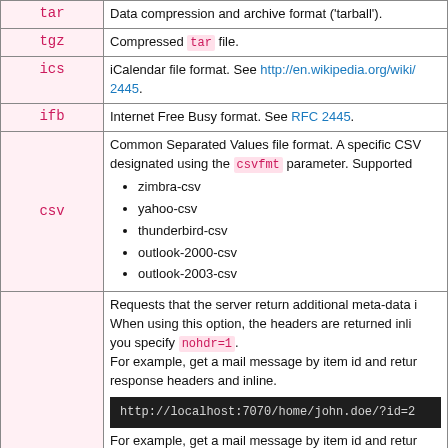| Extension | Description |
| --- | --- |
| tar | Data compression and archive format ('tarball'). |
| tgz | Compressed tar file. |
| ics | iCalendar file format. See http://en.wikipedia.org/wiki/ ... 2445. |
| ifb | Internet Free Busy format. See RFC 2445. |
| csv | Common Separated Values file format. A specific CSV designated using the csvfmt parameter. Supported: zimbra-csv, yahoo-csv, thunderbird-csv, outlook-2000-csv, outlook-2003-csv |
|  | Requests that the server return additional meta-data. When using this option, the headers are returned inline. you specify nohdr=1. For example, get a mail message by item id and return response headers and inline. http://localhost:7070/home/john.doe/?id=2 For example, get a mail message by item id and return |